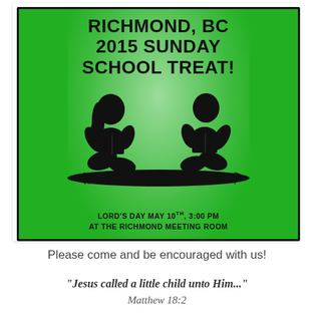[Figure (illustration): Green poster with black border advertising the Richmond, BC 2015 Sunday School Treat event. Features bold black text at top reading 'RICHMOND, BC 2015 SUNDAY SCHOOL TREAT!' and at the bottom 'LORD'S DAY MAY 10TH, 3:00 PM AT THE RICHMOND MEETING ROOM'. Center shows black silhouette illustration of two children sitting on grass reading books to each other.]
Please come and be encouraged with us!
"Jesus called a little child unto Him..." Matthew 18:2